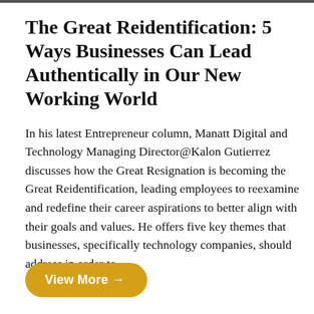The Great Reidentification: 5 Ways Businesses Can Lead Authentically in Our New Working World
In his latest Entrepreneur column, Manatt Digital and Technology Managing Director@Kalon Gutierrez discusses how the Great Resignation is becoming the Great Reidentification, leading employees to reexamine and redefine their career aspirations to better align with their goals and values. He offers five key themes that businesses, specifically technology companies, should address in order to...
View More →